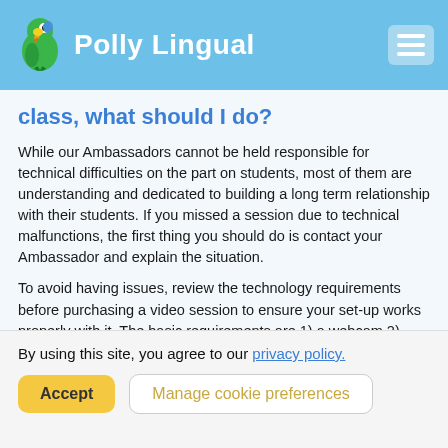Polly Lingual
class, what should I do?
While our Ambassadors cannot be held responsible for technical difficulties on the part on students, most of them are understanding and dedicated to building a long term relationship with their students. If you missed a session due to technical malfunctions, the first thing you should do is contact your Ambassador and explain the situation.
To avoid having issues, review the technology requirements before purchasing a video session to ensure your set-up works properly with it. The basic requirements are 1) a webcam 2) broadband internet access and 3) a WebRTC-enabled web browser such as Chrome or Firefox (sorry, Safari isn't supported at
By using this site, you agree to our privacy policy.
Accept | Manage cookie preferences